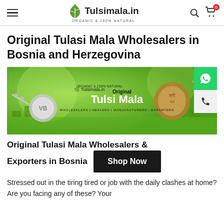Tulsimala.in ORGANIC & 100% ORIGINAL
Original Tulasi Mala Wholesalers in Bosnia and Herzegovina
[Figure (photo): Banner image showing Tulsi Mala necklaces on green bokeh background with text 'Tulsimala.in Original Tulsi Mala WHOLESALERS | DEALERS | MANUFACTURERS | EXPORTERS' and WhatsApp/phone floating buttons on the right]
Original Tulasi Mala Wholesalers & Exporters in Bosnia
Shop Now
Stressed out in the tiring tired or job with the daily clashes at home? Are you facing any of these? Your